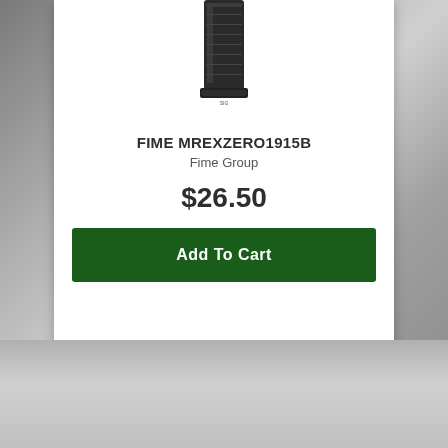[Figure (photo): Product photo of a firearm magazine (FIME MREXZERO1915B), dark/black colored, shown partially cropped at top of card]
FIME MREXZERO1915B
Fime Group
$26.50
Add To Cart